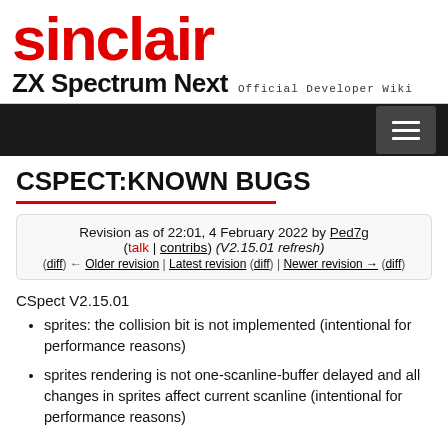[Figure (logo): Sinclair ZX Spectrum Next Official Developer Wiki logo header]
CSPECT:KNOWN BUGS
Revision as of 22:01, 4 February 2022 by Ped7g (talk | contribs) (V2.15.01 refresh)
(diff) ← Older revision | Latest revision (diff) | Newer revision → (diff)
CSpect V2.15.01
sprites: the collision bit is not implemented (intentional for performance reasons)
sprites rendering is not one-scanline-buffer delayed and all changes in sprites affect current scanline (intentional for performance reasons)